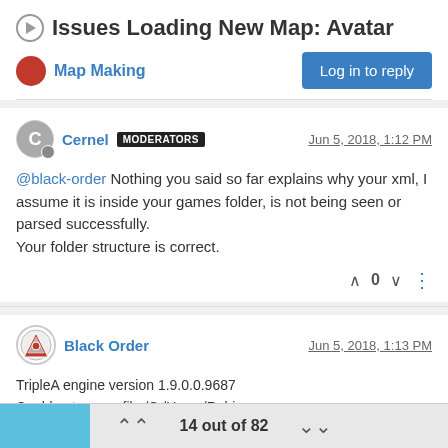Issues Loading New Map: Avatar
Map Making
Log in to reply
Cernel MODERATORS  Jun 5, 2018, 1:12 PM
@black-order Nothing you said so far explains why your xml, I assume it is inside your games folder, is not being seen or parsed successfully.
Your folder structure is correct.
0
Black Order  Jun 5, 2018, 1:13 PM
TripleA engine version 1.9.0.0.9687
Could not parse: file:/C:/Users/Robin-Teus16/triplea/downloadedMaps/Avatar/games/Avatar.xml
14 out of 82